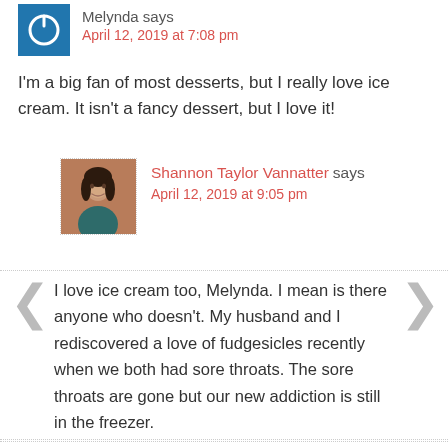Melynda says
April 12, 2019 at 7:08 pm
I'm a big fan of most desserts, but I really love ice cream. It isn't a fancy dessert, but I love it!
Shannon Taylor Vannatter says
April 12, 2019 at 9:05 pm
I love ice cream too, Melynda. I mean is there anyone who doesn't. My husband and I rediscovered a love of fudgesicles recently when we both had sore throats. The sore throats are gone but our new addiction is still in the freezer.